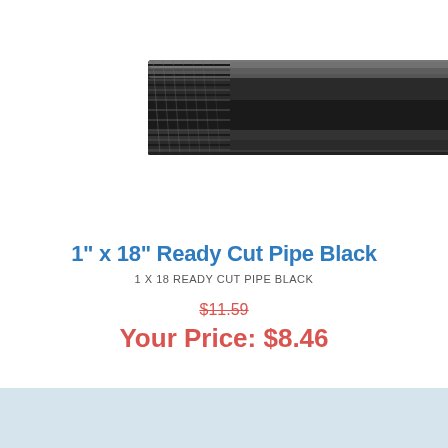[Figure (photo): A black steel pipe with threaded end (nipple), shown diagonally against a white background. The pipe is dark/black steel with visible threading on the left end.]
1" x 18" Ready Cut Pipe Black
1 X 18 READY CUT PIPE BLACK
$11.59
Your Price: $8.46